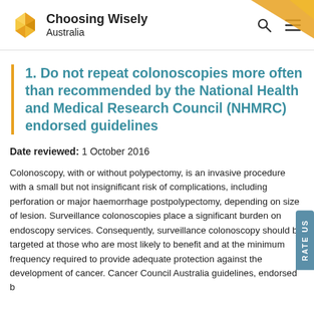Choosing Wisely Australia
1. Do not repeat colonoscopies more often than recommended by the National Health and Medical Research Council (NHMRC) endorsed guidelines
Date reviewed: 1 October 2016
Colonoscopy, with or without polypectomy, is an invasive procedure with a small but not insignificant risk of complications, including perforation or major haemorrhage postpolypectomy, depending on size of lesion. Surveillance colonoscopies place a significant burden on endoscopy services. Consequently, surveillance colonoscopy should be targeted at those who are most likely to benefit and at the minimum frequency required to provide adequate protection against the development of cancer. Cancer Council Australia guidelines, endorsed b